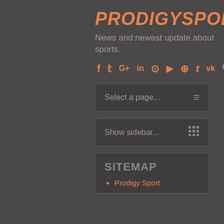PRODIGYSPORT
News and newest update about sports.
[Figure (infographic): Social media icons row: f, t, G+, in, instagram, youtube, pinterest, tumblr, vk, search]
Select a page...
Show sidebar...
SITEMAP
Prodigy Sport